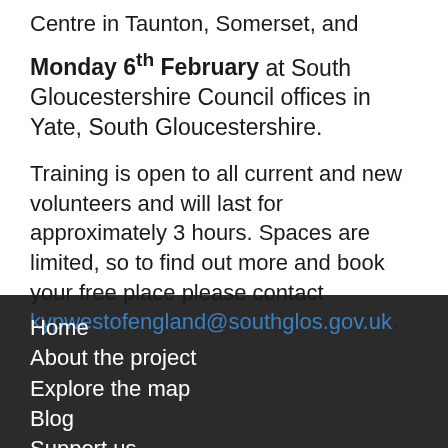Centre in Taunton, Somerset, and
Monday 6th February at South Gloucestershire Council offices in Yate, South Gloucestershire.
Training is open to all current and new volunteers and will last for approximately 3 hours. Spaces are limited, so to find out more and book your free place please contact kypwestofengland@southglos.gov.uk.
Home
About the project
Explore the map
Blog
Support us
Learning pack